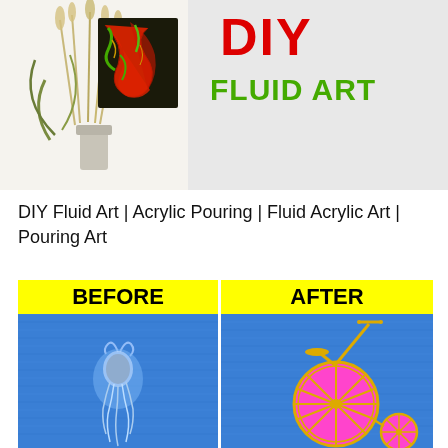[Figure (photo): DIY Fluid Art banner image showing acrylic pour painting with red and green swirls on canvas, displayed next to dried grass decorations in a vase, with 'DIY FLUID ART' text in red and green on a light gray background]
DIY Fluid Art | Acrylic Pouring | Fluid Acrylic Art | Pouring Art
[Figure (photo): Before and after comparison: Before panel shows denim fabric with a torn hole/burn mark; After panel shows denim fabric with a decorative painted penny-farthing bicycle in magenta/pink and yellow colors]